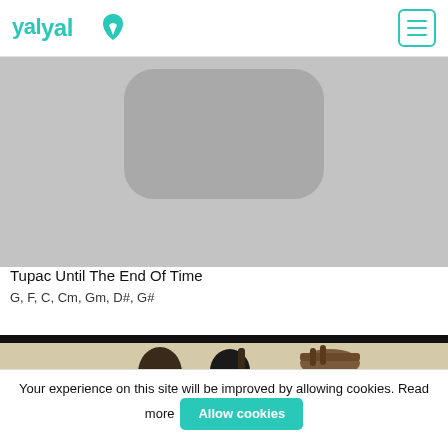yalp
[Figure (photo): Partial view of a music/app related image showing a rounded rectangle graphic, light gray background — Tupac album art screenshot]
Tupac Until The End Of Time
G, F, C, Cm, Gm, D#, G#
[Figure (photo): Photo of two or three people with hand gestures, dark bar at top, warm beige background]
Your experience on this site will be improved by allowing cookies. Read more